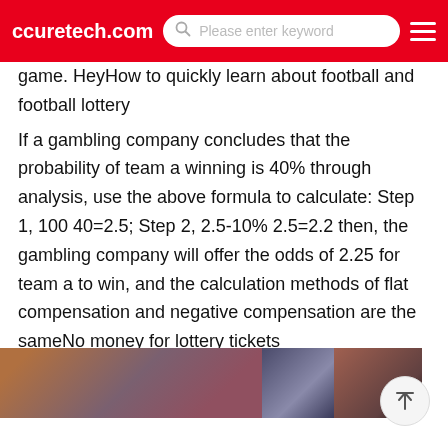ccuretech.com | Please enter keyword
game. HeyHow to quickly learn about football and football lottery
If a gambling company concludes that the probability of team a winning is 40% through analysis, use the above formula to calculate: Step 1, 100 40=2.5; Step 2, 2.5-10% 2.5=2.2 then, the gambling company will offer the odds of 2.25 for team a to win, and the calculation methods of flat compensation and negative compensation are the sameNo money for lottery tickets
In addition, on professional gambling websites
[Figure (photo): A strip of three photos showing football/sports related images]